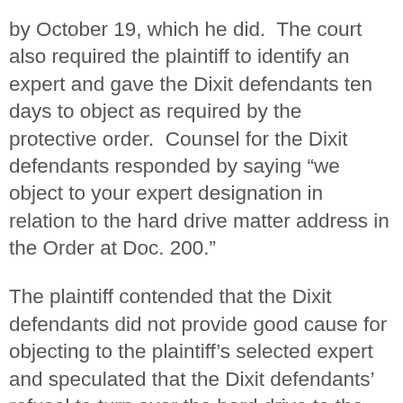by October 19, which he did.  The court also required the plaintiff to identify an expert and gave the Dixit defendants ten days to object as required by the protective order.  Counsel for the Dixit defendants responded by saying “we object to your expert designation in relation to the hard drive matter address in the Order at Doc. 200.”
The plaintiff contended that the Dixit defendants did not provide good cause for objecting to the plaintiff’s selected expert and speculated that the Dixit defendants’ refusal to turn over the hard drive to the expert may be an attempt to cover up spoliation by the Dixit defendants.  In response, the Dixit defendants argued the